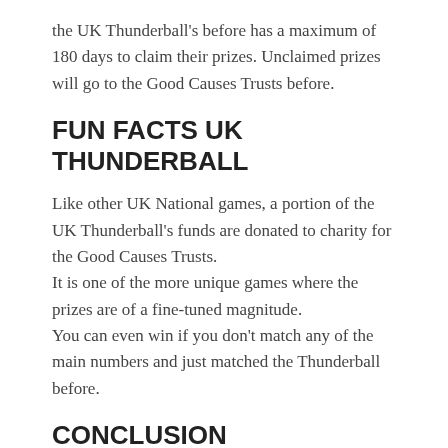the UK Thunderball's before has a maximum of 180 days to claim their prizes. Unclaimed prizes will go to the Good Causes Trusts before.
FUN FACTS UK THUNDERBALL
Like other UK National games, a portion of the UK Thunderball's funds are donated to charity for the Good Causes Trusts.
It is one of the more unique games where the prizes are of a fine-tuned magnitude.
You can even win if you don't match any of the main numbers and just matched the Thunderball before.
CONCLUSION
UK Thunderball is one of the biggest games of uk in terms of profitability, but it's proven itself in other areas as well. The one thing, draws are held three